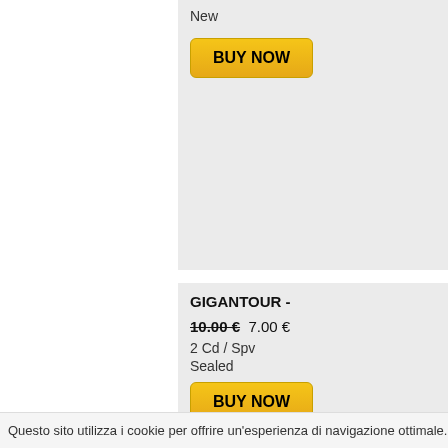New
BUY NOW
GIGANTOUR -
10.00 €  7.00 €
2 Cd / Spv
Sealed
BUY NOW
GIORGIO G. N
13.00 €
Digipack / Black
Sealed
Questo sito utilizza i cookie per offrire un'esperienza di navigazione ottimale. Continuando